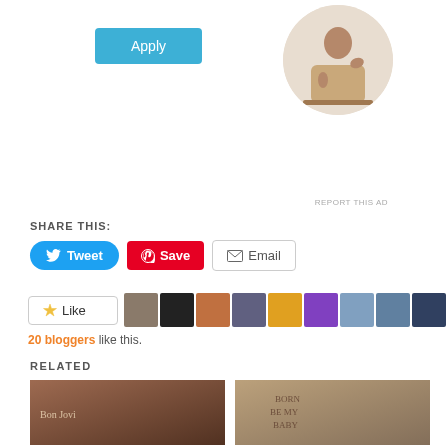[Figure (illustration): Apply button and circular profile photo of a man thinking at a desk, with 'REPORT THIS AD' text below]
SHARE THIS:
[Figure (screenshot): Tweet button (blue, rounded), Save button (red, Pinterest), Email button (outlined with envelope icon)]
[Figure (screenshot): Like button with star icon followed by a row of blogger avatar thumbnails (20 bloggers like this)]
20 bloggers like this.
RELATED
[Figure (photo): Album art / photo for Bon Jovi Lay Your Hands On Me 45]
Bon Jovi – "Lay Your Hands On Me" – 45
[Figure (photo): Album art / photo for Bon Jovi Born to Be My Baby 45]
Bon Jovi – "Born to Be My Baby" – 45